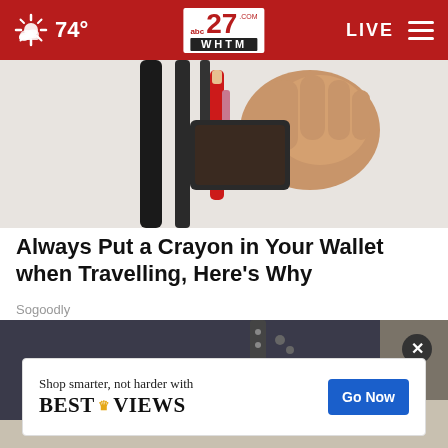74° | abc27 WHTM | LIVE
[Figure (photo): Close-up photo of a hand holding a wallet with a red crayon being placed inside it]
Always Put a Crayon in Your Wallet when Travelling, Here's Why
Sogoodly
[Figure (photo): Photo of a person in a denim jacket handling small items on a table, with an orange package visible]
Shop smarter, not harder with BESTREVIEWS  Go Now